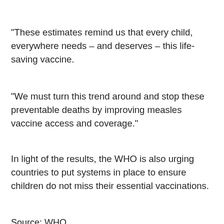“These estimates remind us that every child, everywhere needs – and deserves – this life-saving vaccine.
“We must turn this trend around and stop these preventable deaths by improving measles vaccine access and coverage.”
In light of the results, the WHO is also urging countries to put systems in place to ensure children do not miss their essential vaccinations.
Source: WHO
[Figure (infographic): Social media share buttons: Facebook, WhatsApp, WeChat, Twitter, LinkedIn, Email, Pinterest]